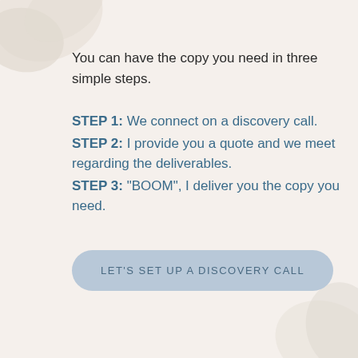You can have the copy you need in three simple steps.
STEP 1: We connect on a discovery call.
STEP 2: I provide you a quote and we meet regarding the deliverables.
STEP 3: "BOOM", I deliver you the copy you need.
LET'S SET UP A DISCOVERY CALL